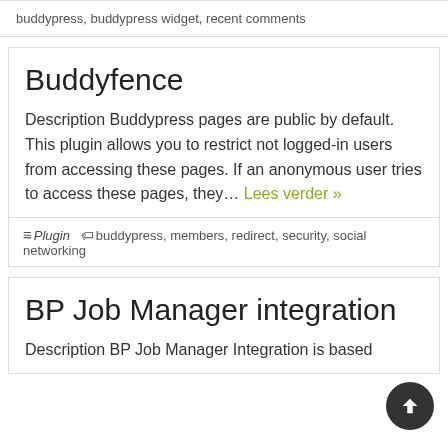buddypress, buddypress widget, recent comments
Buddyfence
Description Buddypress pages are public by default. This plugin allows you to restrict not logged-in users from accessing these pages. If an anonymous user tries to access these pages, they… Lees verder »
Plugin   buddypress, members, redirect, security, social networking
BP Job Manager integration
Description BP Job Manager Integration is based